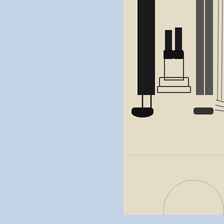[Figure (illustration): Black and white line drawing showing figures from the waist/legs down — feet and lower legs of multiple standing figures, including one figure on a pedestal/column base, wearing various shoes and clothing styles.]
One especially gaseous fan (I'm sure he'd prefer cinephile) asked a designed to cram everything he knew about film into one five-minute to, "Why didn't you ever direct?" After seeming a little startled that th talking, Widmark smiled, trained his clear-eyed gaze on him, and an didn't want to get up that early."
[Figure (photo): Close-up photo of a middle-aged man with tousled brown hair against a light blue background.]
[Figure (photo): Photo of an elderly person against a wooden/brown background, partially visible at right edge.]